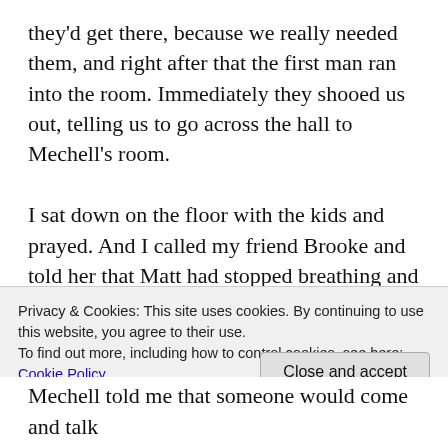they'd get there, because we really needed them, and right after that the first man ran into the room. Immediately they shooed us out, telling us to go across the hall to Mechell's room.

I sat down on the floor with the kids and prayed. And I called my friend Brooke and told her that Matt had stopped breathing and I needed her to pray. Matt's mom and his step-dad, Dan, arrived then, too. It wasn't long before the EMTs – who, by now, had crowded into our hotel room, the hallway, and
Privacy & Cookies: This site uses cookies. By continuing to use this website, you agree to their use.
To find out more, including how to control cookies, see here: Cookie Policy
Close and accept
Mechell told me that someone would come and talk